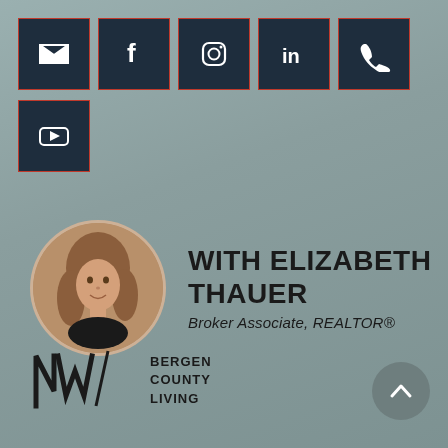[Figure (infographic): Social media icon buttons in dark navy boxes: email, Facebook, Instagram, LinkedIn, phone, YouTube]
[Figure (photo): Circular headshot of Elizabeth Thauer, a woman with reddish-brown hair, smiling, wearing dark clothing]
WITH ELIZABETH THAUER
Broker Associate, REALTOR®
[Figure (logo): NW Bergen County Living logo with stylized NW lettermark and text BERGEN COUNTY LIVING]
[Figure (other): Gray circular scroll-to-top button with upward chevron arrow]